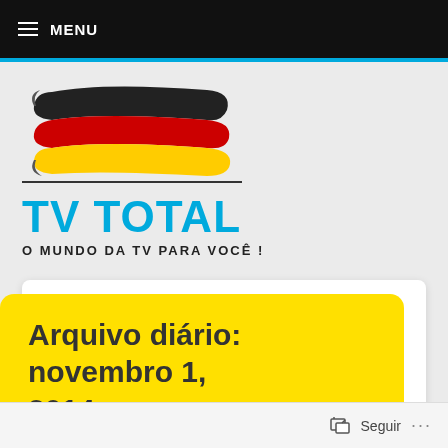≡ MENU
[Figure (logo): TV Total website logo with German flag scroll graphic above the text TV TOTAL and tagline O MUNDO DA TV PARA VOCÊ!]
TV TOTAL
O MUNDO DA TV PARA VOCÊ !
Arquivo diário: novembro 1, 2014
Seguir